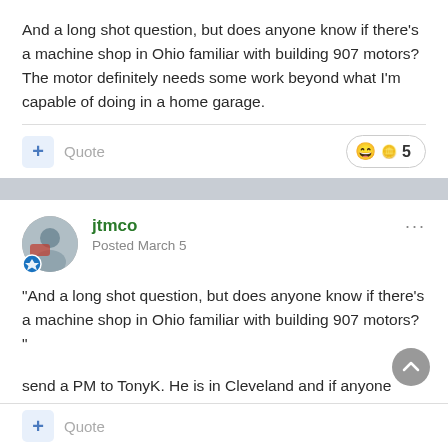And a long shot question, but does anyone know if there's a machine shop in Ohio familiar with building 907 motors? The motor definitely needs some work beyond what I'm capable of doing in a home garage.
+ Quote  🙂 5
jtmco
Posted March 5
"And a long shot question, but does anyone know if there's a machine shop in Ohio familiar with building 907 motors? "
send a PM to TonyK. He is in Cleveland and if anyone would know, he would.
+ Quote